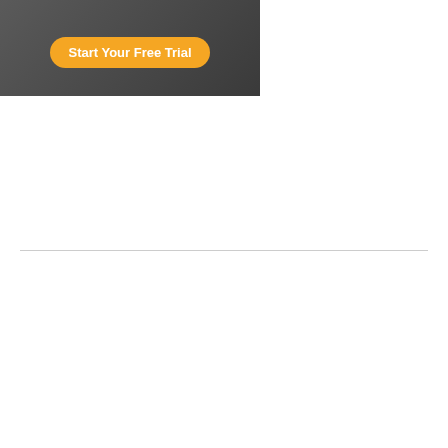[Figure (screenshot): Advertisement banner with 'Start Your Free Trial' orange button on dark background with book covers]
Jude's ReaderRank
Jude has reviewed 1267 books with an average rating of 4.043 out of 5.
16524 people have found Jude's written reviews to be helpful on Goodreads.
See more...
Top 1% in LGBT
Top 1% in readers helped